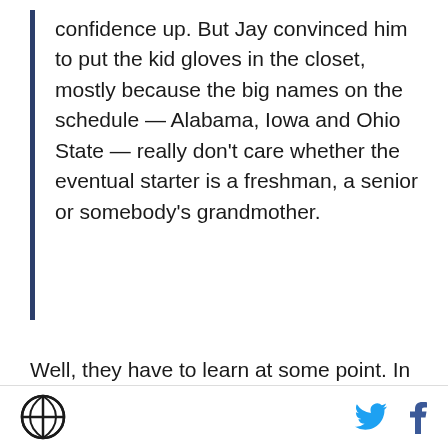confidence up. But Jay convinced him to put the kid gloves in the closet, mostly because the big names on the schedule — Alabama, Iowa and Ohio State — really don't care whether the eventual starter is a freshman, a senior or somebody's grandmother.
Well, they have to learn at some point. In reality, Penn State is going to be a team straight out of its 1970's glory days -- lots of running (only with some read option added to the mix), ferocious defense, and a controlled passing game. Offensive success will require a lot of grit and brute force, and a pinch of trickery. No way around that, regardless of the